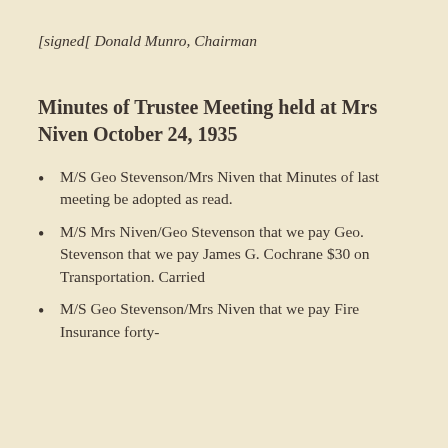[signed[ Donald Munro, Chairman
Minutes of Trustee Meeting held at Mrs Niven October 24, 1935
M/S Geo Stevenson/Mrs Niven that Minutes of last meeting be adopted as read.
M/S Mrs Niven/Geo Stevenson that we pay Geo. Stevenson that we pay James G. Cochrane $30 on Transportation. Carried
M/S Geo Stevenson/Mrs Niven that we pay Fire Insurance forty-